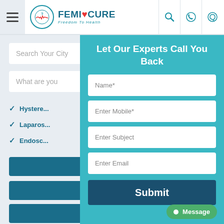FEMICURE - Freedom To Health
Search Your City
What are you
Hystere...
Laparos...
Endosc...
ENQUIRE NOW
Let Our Experts Call You Back
Name*
Enter Mobile*
Enter Subject
Enter Email
Submit
Message